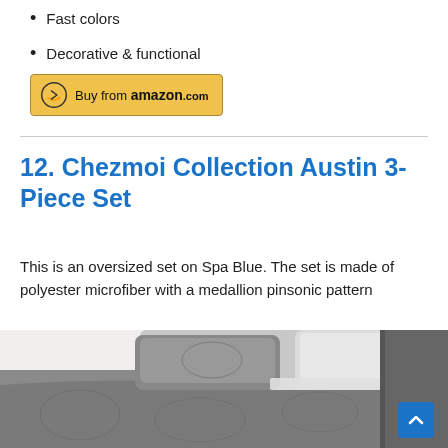Fast colors
Decorative & functional
[Figure (logo): Buy from amazon.com button with Amazon logo arrow]
12. Chezmoi Collection Austin 3-Piece Set
This is an oversized set on Spa Blue. The set is made of polyester microfiber with a medallion pinsonic pattern
[Figure (photo): Photo of a gray quilted bedspread with pillows on a bed]